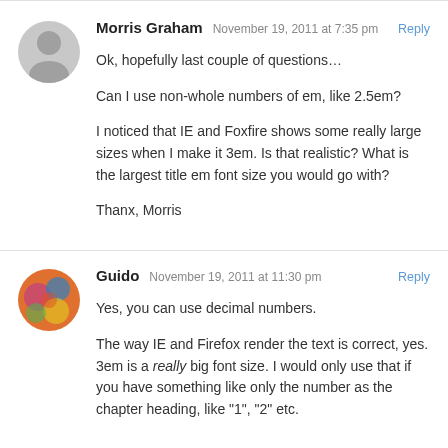Morris Graham  November 19, 2011 at 7:35 pm  Reply
Ok, hopefully last couple of questions…
Can I use non-whole numbers of em, like 2.5em?
I noticed that IE and Foxfire shows some really large sizes when I make it 3em. Is that realistic? What is the largest title em font size you would go with?
Thanx, Morris
Guido  November 19, 2011 at 11:30 pm  Reply
Yes, you can use decimal numbers.
The way IE and Firefox render the text is correct, yes. 3em is a really big font size. I would only use that if you have something like only the number as the chapter heading, like "1", "2" etc.